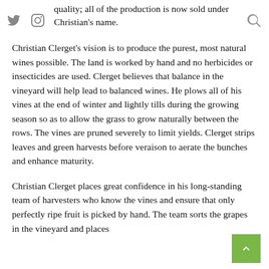quality; all of the production is now sold under Christian's name.
Christian Clerget's vision is to produce the purest, most natural wines possible. The land is worked by hand and no herbicides or insecticides are used. Clerget believes that balance in the vineyard will help lead to balanced wines. He plows all of his vines at the end of winter and lightly tills during the growing season so as to allow the grass to grow naturally between the rows. The vines are pruned severely to limit yields. Clerget strips leaves and green harvests before veraison to aerate the bunches and enhance maturity.
Christian Clerget places great confidence in his long-standing team of harvesters who know the vines and ensure that only perfectly ripe fruit is picked by hand. The team sorts the grapes in the vineyard and places